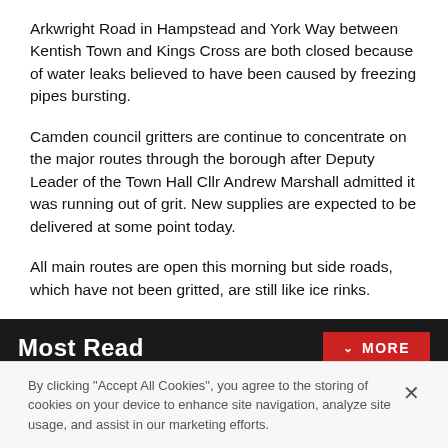Arkwright Road in Hampstead and York Way between Kentish Town and Kings Cross are both closed because of water leaks believed to have been caused by freezing pipes bursting.
Camden council gritters are continue to concentrate on the major routes through the borough after Deputy Leader of the Town Hall Cllr Andrew Marshall admitted it was running out of grit. New supplies are expected to be delivered at some point today.
All main routes are open this morning but side roads, which have not been gritted, are still like ice rinks.
Most Read
By clicking "Accept All Cookies", you agree to the storing of cookies on your device to enhance site navigation, analyze site usage, and assist in our marketing efforts.